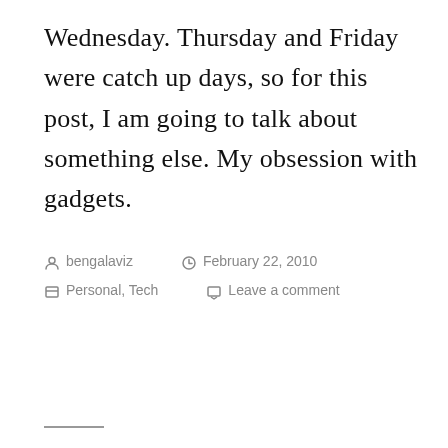Wednesday. Thursday and Friday were catch up days, so for this post, I am going to talk about something else. My obsession with gadgets.
bengalaviz   February 22, 2010   Personal, Tech   Leave a comment